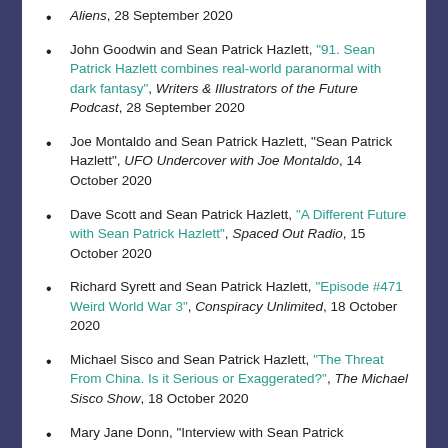Aliens, 28 September 2020
John Goodwin and Sean Patrick Hazlett, "91. Sean Patrick Hazlett combines real-world paranormal with dark fantasy", Writers & Illustrators of the Future Podcast, 28 September 2020
Joe Montaldo and Sean Patrick Hazlett, "Sean Patrick Hazlett", UFO Undercover with Joe Montaldo, 14 October 2020
Dave Scott and Sean Patrick Hazlett, "A Different Future with Sean Patrick Hazlett", Spaced Out Radio, 15 October 2020
Richard Syrett and Sean Patrick Hazlett, "Episode #471 Weird World War 3", Conspiracy Unlimited, 18 October 2020
Michael Sisco and Sean Patrick Hazlett, "The Threat From China. Is it Serious or Exaggerated?", The Michael Sisco Show, 18 October 2020
Mary Jane Donn, "Interview with Sean Patrick..." (truncated)